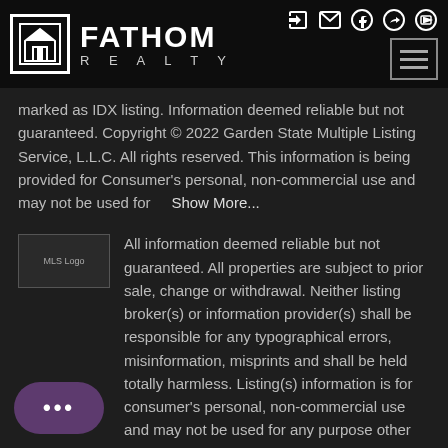[Figure (logo): Fathom Realty logo with house icon in square border and text FATHOM REALTY]
marked as IDX listing. Information deemed reliable but not guaranteed. Copyright © 2022 Garden State Multiple Listing Service, L.L.C. All rights reserved. This information is being provided for Consumer's personal, non-commercial use and may not be used for    Show More...
All information deemed reliable but not guaranteed. All properties are subject to prior sale, change or withdrawal. Neither listing broker(s) or information provider(s) shall be responsible for any typographical errors, misinformation, misprints and shall be held totally harmless. Listing(s) information is for consumer's personal, non-commercial use and may not be used for any purpose other than to identify